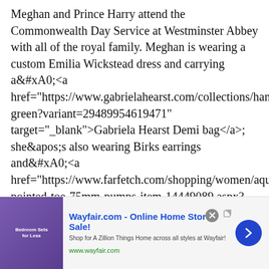Meghan and Prince Harry attend the Commonwealth Day Service at Westminster Abbey with all of the royal family. Meghan is wearing a custom Emilia Wickstead dress and carrying a&#xA0;<a href="https://www.gabrielahearst.com/collections/handbag-green?variant=29489954619471" target="_blank">Gabriela Hearst Demi bag</a>; she&apos;s also wearing Birks earrings and&#xA0;<a href="https://www.farfetch.com/shopping/women/aquazzu-purist-pointed-toe-75mm-pumps-item-14449089.aspx?storeid=11921" target="_blank">Aquazzura heels</a>.
For more stories like this, including celebrity news,
[Figure (other): Advertisement banner for Wayfair.com - Online Home Store Sale! with purple bedroom image, blue arrow button, close button, and external link icon.]